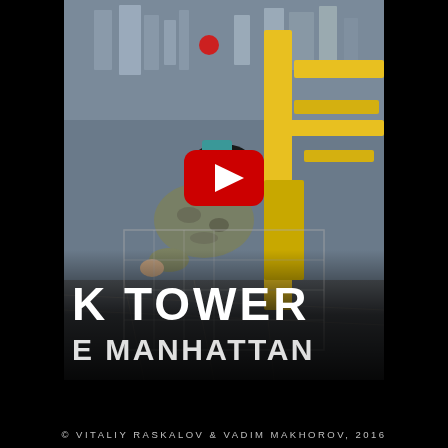[Figure (photo): A person in camouflage jacket and black hat lying on top of a tall crane or skyscraper under construction, with a wide-angle downward view of Manhattan cityscape far below. Yellow crane structure visible. YouTube play button overlay in center.]
K TOWER E MANHATTAN
© VITALIY RASKALOV & VADIM MAKHOROV, 2016